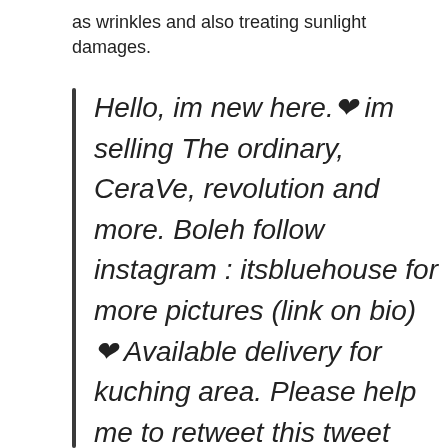as wrinkles and also treating sunlight damages.
Hello, im new here.❤ im selling The ordinary, CeraVe, revolution and more. Boleh follow instagram : itsbluehouse for more pictures (link on bio)❤ Available delivery for kuching area. Please help me to retweet this tweet